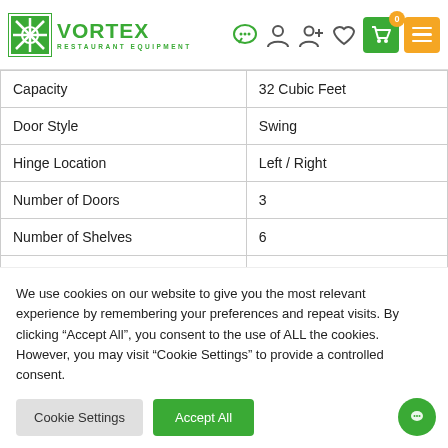[Figure (screenshot): Vortex Restaurant Equipment website header with logo, navigation icons (chat, user, add user, wishlist, cart with 0 badge), and hamburger menu button]
| Capacity | 32 Cubic Feet |
| Door Style | Swing |
| Hinge Location | Left / Right |
| Number of Doors | 3 |
| Number of Shelves | 6 |
| Colour | Stainless |
| Compressor Location | Side Mounted |
We use cookies on our website to give you the most relevant experience by remembering your preferences and repeat visits. By clicking “Accept All”, you consent to the use of ALL the cookies. However, you may visit "Cookie Settings" to provide a controlled consent.
Cookie Settings | Accept All